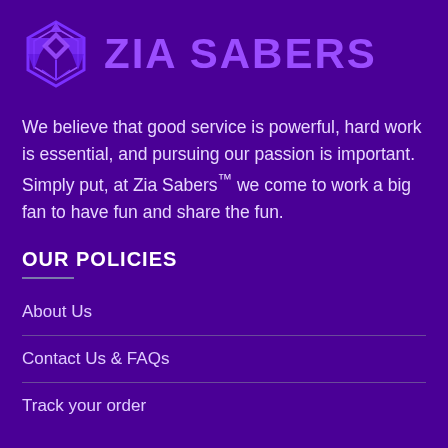[Figure (logo): Zia Sabers logo: a geometric shield/diamond shape in purple tones alongside the text ZIA SABERS in bold purple lettering]
We believe that good service is powerful, hard work is essential, and pursuing our passion is important. Simply put, at Zia Sabers™ we come to work a big fan to have fun and share the fun.
OUR POLICIES
About Us
Contact Us & FAQs
Track your order